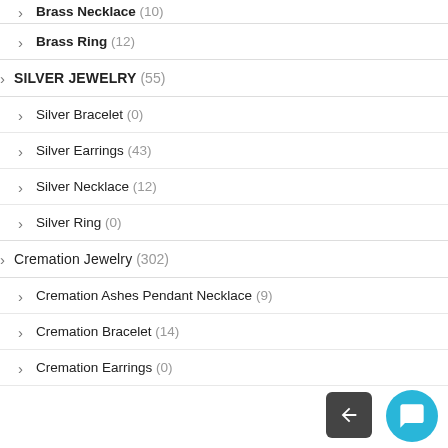Brass Necklace (10)
Brass Ring (12)
SILVER JEWELRY (55)
Silver Bracelet (0)
Silver Earrings (43)
Silver Necklace (12)
Silver Ring (0)
Cremation Jewelry (302)
Cremation Ashes Pendant Necklace (9)
Cremation Bracelet (14)
Cremation Earrings (0)